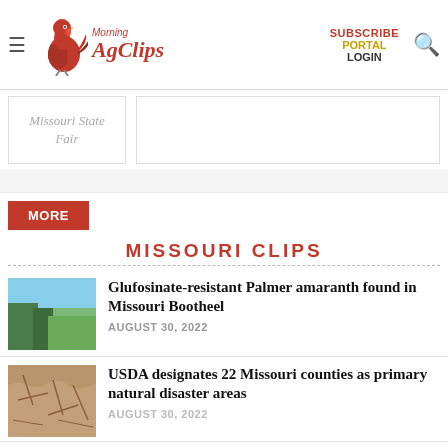Morning AgClips — SUBSCRIBE PORTAL LOGIN
Missouri State Fair
MISSOURI CLIPS
Glufosinate-resistant Palmer amaranth found in Missouri Bootheel
AUGUST 30, 2022
USDA designates 22 Missouri counties as primary natural disaster areas
AUGUST 30, 2022